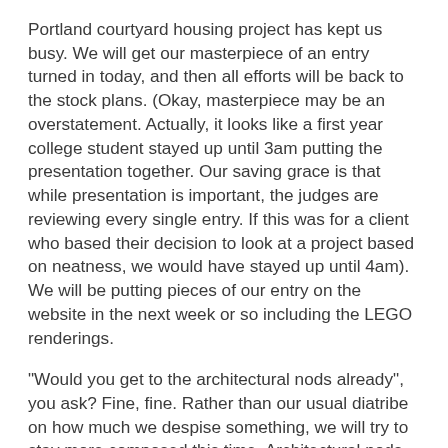Portland courtyard housing project has kept us busy. We will get our masterpiece of an entry turned in today, and then all efforts will be back to the stock plans. (Okay, masterpiece may be an overstatement. Actually, it looks like a first year college student stayed up until 3am putting the presentation together. Our saving grace is that while presentation is important, the judges are reviewing every single entry. If this was for a client who based their decision to look at a project based on neatness, we would have stayed up until 4am). We will be putting pieces of our entry on the website in the next week or so including the LEGO renderings.
"Would you get to the architectural nods already", you ask? Fine, fine. Rather than our usual diatribe on how much we despise something, we will try to stay more composed this time. Architectural nods are about a 10% (usually less) effort to copy a traditional design style. For instance in an architectural nodding craftsman home you would find gridded windows, dormers, some stone veneer and some nice door and window trim. Sound good? Sure, but what's missing? Brick fireplace, 24" overhangs, gable end brackets, 2x12 barge boards, exposed rafter tails, different siding in the